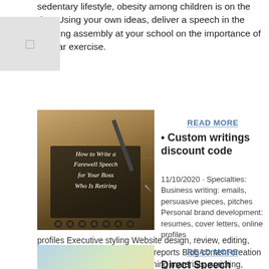sedentary lifestyle, obesity among children is on the rise. Using your own ideas, deliver a speech in the morning assembly at your school on the importance of regular exercise.
[Figure (screenshot): Small thumbnail placeholder image partially visible at top-left]
READ MORE
• Custom writings discount code
11/10/2020 · Specialties: Business writing: emails, persuasive pieces, pitches Personal brand development: resumes, cover letters, online profiles Executive styling Website design, review, editing, copy creation Manuscripts and reports Blog content creation Guides, manuals, mailings, training materials, scripting, screenwriting Speech / Presentation Sample Industry Experience: Coaching …
[Figure (photo): Image of a spiral notebook with a pen, showing text 'How to Write a Farewell Speech for Your Boss Who Is Retiring' on a dark overlay]
READ MORE
Direct Speech